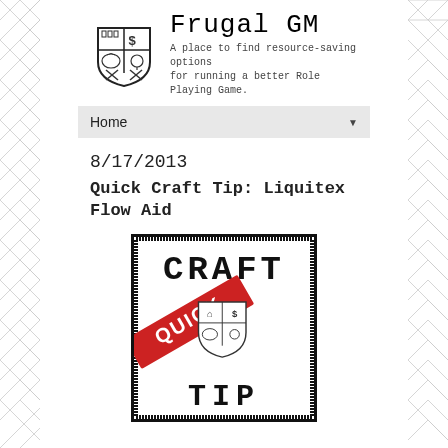[Figure (logo): Frugal GM shield/crest logo with castle, dollar sign, bag, lightbulb, and crossed pencil/sword]
Frugal GM
A place to find resource-saving options for running a better Role Playing Game.
Home ▼
8/17/2013
Quick Craft Tip: Liquitex Flow Aid
[Figure (illustration): Quick Craft Tip badge image: black and white shield logo with CRAFT text at top, QUICK red diagonal banner overlay, and TIP text at bottom, distressed border style]